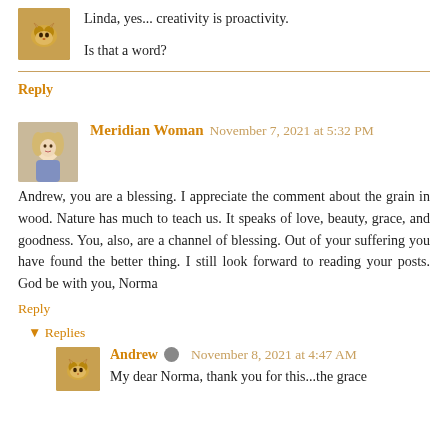[Figure (photo): Small avatar thumbnail of a cat, warm orange/brown tones]
Linda, yes... creativity is proactivity.

Is that a word?
Reply
[Figure (photo): Avatar photo of a blonde woman]
Meridian Woman November 7, 2021 at 5:32 PM
Andrew, you are a blessing. I appreciate the comment about the grain in wood. Nature has much to teach us. It speaks of love, beauty, grace, and goodness. You, also, are a channel of blessing. Out of your suffering you have found the better thing. I still look forward to reading your posts. God be with you, Norma
Reply
▾ Replies
[Figure (photo): Small avatar thumbnail of a cat, warm tones]
Andrew ✎ November 8, 2021 at 4:47 AM
My dear Norma, thank you for this...the grace